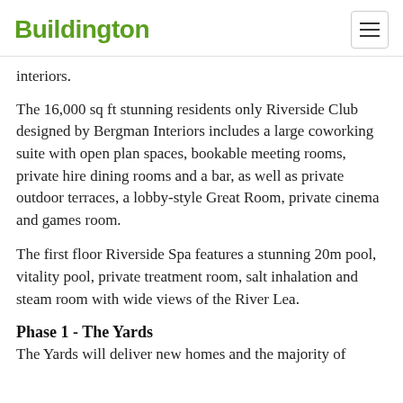Buildington
interiors.
The 16,000 sq ft stunning residents only Riverside Club designed by Bergman Interiors includes a large coworking suite with open plan spaces, bookable meeting rooms, private hire dining rooms and a bar, as well as private outdoor terraces, a lobby-style Great Room, private cinema and games room.
The first floor Riverside Spa features a stunning 20m pool, vitality pool, private treatment room, salt inhalation and steam room with wide views of the River Lea.
Phase 1 - The Yards
The Yards will deliver new homes and the majority of